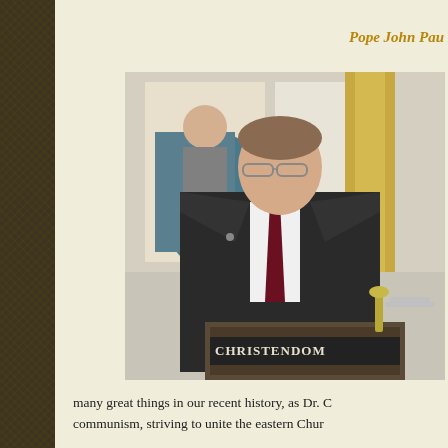Pope John Pau
[Figure (photo): A man in a dark suit and burgundy tie speaking at a podium labeled CHRISTENDOM, with a painting visible in the background.]
many great things in our recent history, as Dr. C communism, striving to unite the eastern Chur